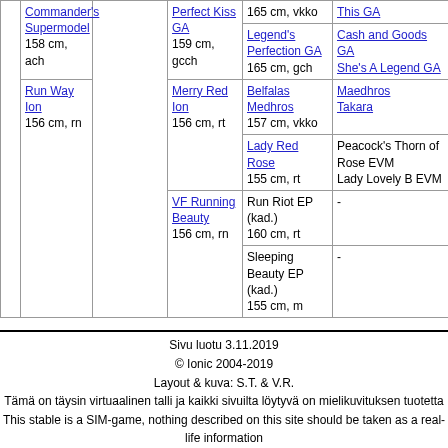|  |  |  |  |  |  |
| --- | --- | --- | --- | --- | --- |
|  | Commander's Supermodel
158 cm, ach |  | Perfect Kiss GA
159 cm, gcch | 165 cm, vkko
Legend's Perfection GA
165 cm, gch | This GA
Cash and Goods GA
She's A Legend GA |
|  |  | Run Way Ion
156 cm, rn | Merry Red Ion
156 cm, rt | Belfalas Medhros
157 cm, vkko
Lady Red Rose
155 cm, rt | Maedhros
Takara
Peacock's Thorn of Rose EVM
Lady Lovely B EVM |
|  |  |  | VF Running Beauty
156 cm, rn | Run Riot EP (kad.)
160 cm, rt
Sleeping Beauty EP (kad.)
155 cm, m | -
-
-
- |
Sivu luotu 3.11.2019
© Ionic 2004-2019
Layout & kuva: S.T. & V.R.
Tämä on täysin virtuaalinen talli ja kaikki sivuilta löytyvä on mielikuvituksen tuotetta
This stable is a SIM-game, nothing described on this site should be taken as a real-life information